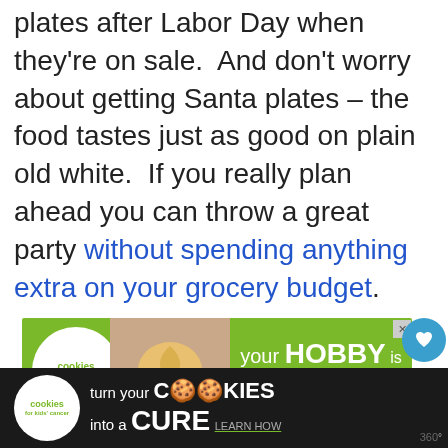plates after Labor Day when they're on sale.  And don't worry about getting Santa plates – the food tastes just as good on plain old white.  If you really plan ahead you can throw a great party without spending anything extra on your grocery budget.
[Figure (other): Advertisement banner: 'your HOBBY is their HOPE' — Cookies for Kids' Cancer charity ad with green background, white circular logo, and hands holding a heart-shaped cookie]
[Figure (other): Bottom advertisement bar: 'turn your COOKIES into a CURE LEARN HOW' — Cookies for Kids' Cancer charity ad on dark background]